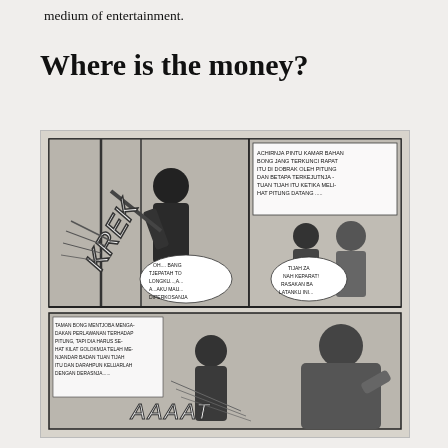medium of entertainment.
Where is the money?
[Figure (illustration): Black and white Indonesian comic strip panels showing dramatic scenes with characters and Indonesian text speech bubbles. Top panel: a man breaking into a room with sound effect 'KREK', woman character, and speech bubbles in Indonesian including 'ACHIRNJA PINTU KAMAR BAHAN BONG JANG TERKUNCI RAPAT ITU DI DOBRAK OLEH PITUNG DAN BETAPA TERKEJUTNJA TUAN TIJAH ITU KETIKA MELI-HAT PITUNG DATANG....', 'TIJAH ZA NAH KEPARAT! RASAKAN BA LATANKU INI...', 'OH....BANG TJEPATAH TO LONGKU...A...A...AKU MAU DIPERKOSANJA'. Bottom panel: more action with Indonesian caption text and sound effect 'AAAAT'.]